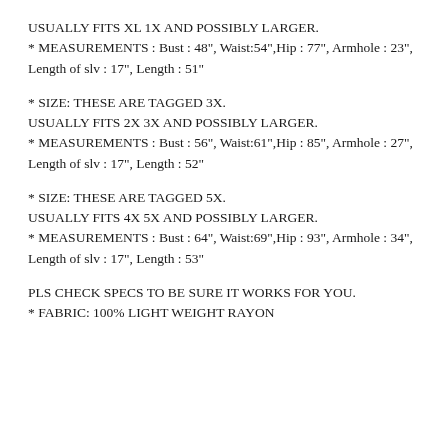USUALLY FITS XL 1X AND POSSIBLY LARGER.
* MEASUREMENTS : Bust : 48", Waist:54",Hip : 77", Armhole : 23", Length of slv : 17", Length : 51"
* SIZE: THESE ARE TAGGED 3X.
USUALLY FITS 2X 3X AND POSSIBLY LARGER.
* MEASUREMENTS : Bust : 56", Waist:61",Hip : 85", Armhole : 27", Length of slv : 17", Length : 52"
* SIZE: THESE ARE TAGGED 5X.
USUALLY FITS 4X 5X AND POSSIBLY LARGER.
* MEASUREMENTS : Bust : 64", Waist:69",Hip : 93", Armhole : 34", Length of slv : 17", Length : 53"
PLS CHECK SPECS TO BE SURE IT WORKS FOR YOU.
* FABRIC: 100% LIGHT WEIGHT RAYON